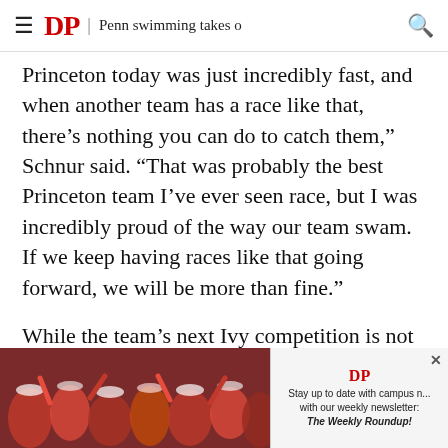DP | Penn swimming takes o
Princeton today was just incredibly fast, and when another team has a race like that, there’s nothing you can do to catch them,” Schnur said. “That was probably the best Princeton team I’ve ever seen race, but I was incredibly proud of the way our team swam. If we keep having races like that going forward, we will be more than fine.”
While the team’s next Ivy competition is not for another seven weeks, the Quakers do have their second-biggest meet of the season coming up at the K...
[Figure (photo): Crowd of people in red shirts cheering, with a newsletter advertisement overlay reading 'Stay up to date with campus news with our weekly newsletter: The Weekly Roundup!']